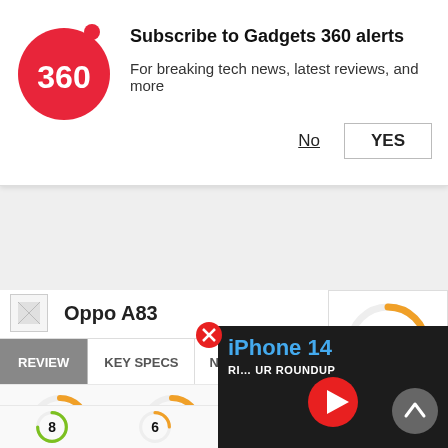[Figure (logo): Gadgets 360 circular red logo with '360' text]
Subscribe to Gadgets 360 alerts
For breaking tech news, latest reviews, and more
No
YES
Oppo A83
REVIEW
KEY SPECS
NEW
[Figure (infographic): Score rating circles: Design 7, Display 7, Software 7, Performance (partial), and second row 8, 6, 7. Large rating circle showing 7.]
[Figure (screenshot): iPhone 14 Review Roundup video overlay with play button]